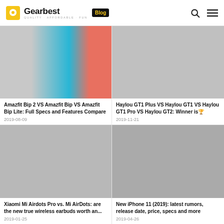Gearbest Blog
[Figure (photo): Amazfit smartwatch product image with color blocks]
Amazfit Bip 2 VS Amazfit Bip VS Amazfit Bip Lite: Full Specs and Features Compare
2019-08-09
[Figure (photo): Haylou earbuds product image]
Haylou GT1 Plus VS Haylou GT1 VS Haylou GT1 Pro VS Haylou GT2: Winner is🏆
2019-11-21
[Figure (photo): Xiaomi Mi Airdots product image]
Xiaomi Mi Airdots Pro vs. Mi AirDots: are the new true wireless earbuds worth an...
2019-01-25
[Figure (photo): iPhone 11 product image]
New iPhone 11 (2019): latest rumors, release date, price, specs and more
2019-04-26